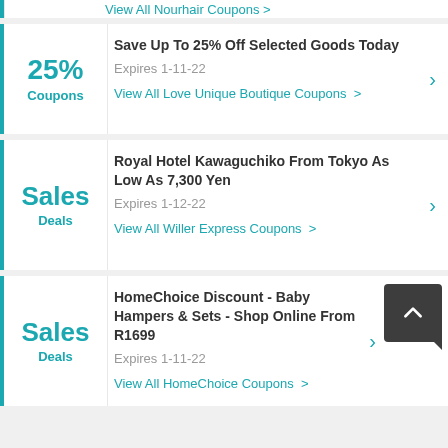View All Nourhair Coupons >
25% Coupons | Save Up To 25% Off Selected Goods Today | Expires 1-11-22 | View All Love Unique Boutique Coupons >
Sales Deals | Royal Hotel Kawaguchiko From Tokyo As Low As 7,300 Yen | Expires 1-12-22 | View All Willer Express Coupons >
Sales Deals | HomeChoice Discount - Baby Hampers & Sets - Shop Online From R1699 | Expires 1-11-22 | View All HomeChoice Coupons >